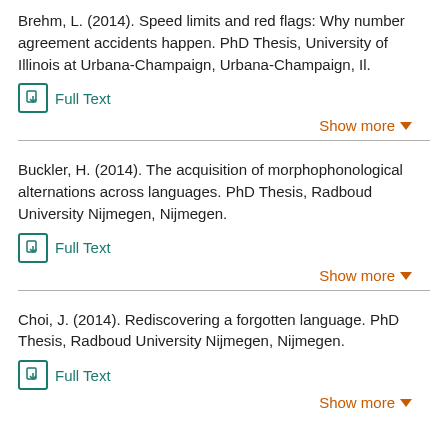Brehm, L. (2014). Speed limits and red flags: Why number agreement accidents happen. PhD Thesis, University of Illinois at Urbana-Champaign, Urbana-Champaign, Il.
Full Text
Show more
Buckler, H. (2014). The acquisition of morphophonological alternations across languages. PhD Thesis, Radboud University Nijmegen, Nijmegen.
Full Text
Show more
Choi, J. (2014). Rediscovering a forgotten language. PhD Thesis, Radboud University Nijmegen, Nijmegen.
Full Text
Show more